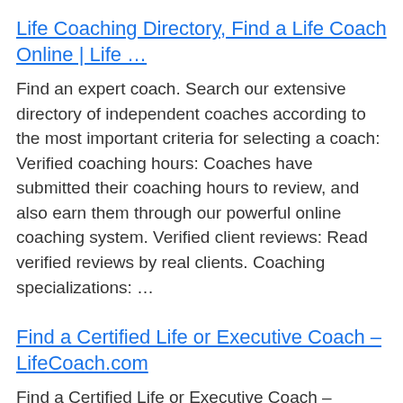Life Coaching Directory, Find a Life Coach Online | Life …
Find an expert coach. Search our extensive directory of independent coaches according to the most important criteria for selecting a coach: Verified coaching hours: Coaches have submitted their coaching hours to review, and also earn them through our powerful online coaching system. Verified client reviews: Read verified reviews by real clients. Coaching specializations: …
Find a Certified Life or Executive Coach – LifeCoach.com
Find a Certified Life or Executive Coach – LifeCoach.com. PRIVATE COACHING. Work 1-on-1 with a certified Life Coach. Working one-on-one with a certified Life Coach can help you